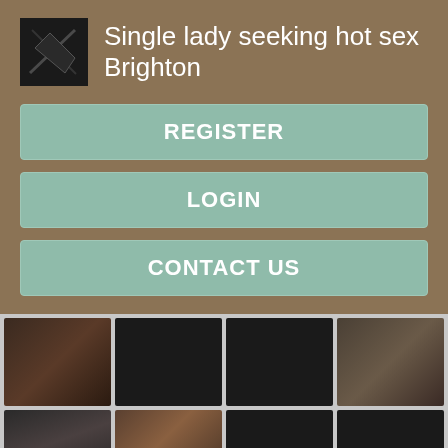Single lady seeking hot sex Brighton
REGISTER
LOGIN
CONTACT US
[Figure (photo): Grid of 8 thumbnail images with 'Register NOW for Instant Access' overlays]